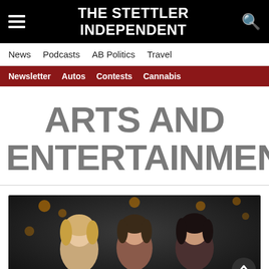THE STETTLER INDEPENDENT
News · Podcasts · AB Politics · Travel
Newsletter · Autos · Contests · Cannabis
ARTS AND ENTERTAINMENT
[Figure (photo): Three women smiling together in a dimly lit venue with warm bokeh lights in the background]